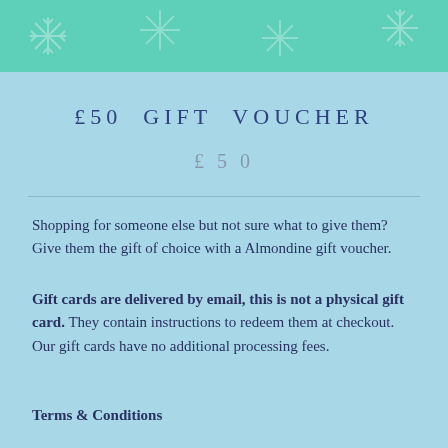[Figure (illustration): Teal/mint green header banner with snowflake decorative pattern]
£50 GIFT VOUCHER
£50
Shopping for someone else but not sure what to give them? Give them the gift of choice with a Almondine gift voucher.
Gift cards are delivered by email, this is not a physical gift card. They contain instructions to redeem them at checkout. Our gift cards have no additional processing fees.
Terms & Conditions